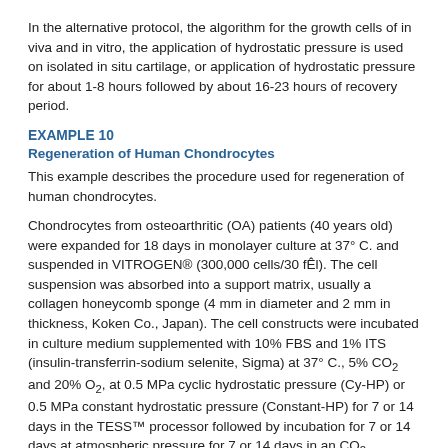In the alternative protocol, the algorithm for the growth cells of in viva and in vitro, the application of hydrostatic pressure is used on isolated in situ cartilage, or application of hydrostatic pressure for about 1-8 hours followed by about 16-23 hours of recovery period.
EXAMPLE 10
Regeneration of Human Chondrocytes
This example describes the procedure used for regeneration of human chondrocytes.
Chondrocytes from osteoarthritic (OA) patients (40 years old) were expanded for 18 days in monolayer culture at 37° C. and suspended in VITROGEN® (300,000 cells/30 fÊl). The cell suspension was absorbed into a support matrix, usually a collagen honeycomb sponge (4 mm in diameter and 2 mm in thickness, Koken Co., Japan). The cell constructs were incubated in culture medium supplemented with 10% FBS and 1% ITS (insulin-transferrin-sodium selenite, Sigma) at 37° C., 5% CO₂ and 20% O₂, at 0.5 MPa cyclic hydrostatic pressure (Cy-HP) or 0.5 MPa constant hydrostatic pressure (Constant-HP) for 7 or 14 days in the TESS™ processor followed by incubation for 7 or 14 days at atmospheric pressure for 7 or 14 days in an CO₂ incubator at 37° C. The remaining cell constructs compromising the control group were incubated atmospheric pressure for 21 days at 37° C., 5% CO₂ and 20% O₂.